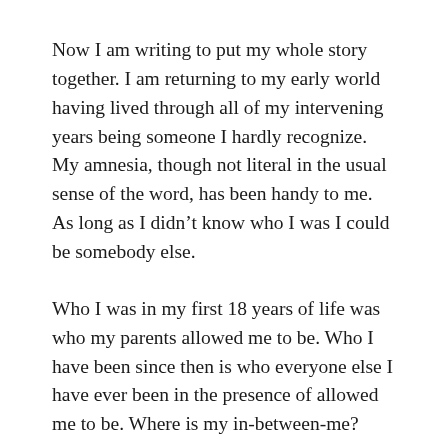Now I am writing to put my whole story together.  I am returning to my early world having lived through all of my intervening years being someone I hardly recognize.  My amnesia, though not literal in the usual sense of the word, has been handy to me.  As long as I didn’t know who I was I could be somebody else.
Who I was in my first 18 years of life was who my parents allowed me to be.  Who I have been since then is who everyone else I have ever been in the presence of allowed me to be.  Where is my in-between-me?
When I see someone, I don’t know who they are.  When someone sees me, they don’t know who I am.  It seems to me that everyone simply lives in between who people see and who they don’t know.  In between supposedly people communicate.  Certainly they look at one another, make